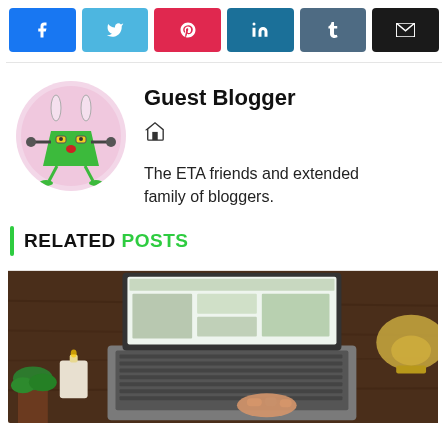[Figure (other): Social share buttons row: Facebook (blue), Twitter (light blue), Pinterest (red), LinkedIn (dark teal), Tumblr (slate), Email (black)]
Guest Blogger
[Figure (illustration): Circular avatar with pink background featuring a green cartoon monster character with bunny ears, yellow eyes, and chicken legs]
The ETA friends and extended family of bloggers.
RELATED POSTS
[Figure (photo): Overhead view of a person's hands typing on a laptop on a wooden desk, with a plant, candle, and golden lamp visible]